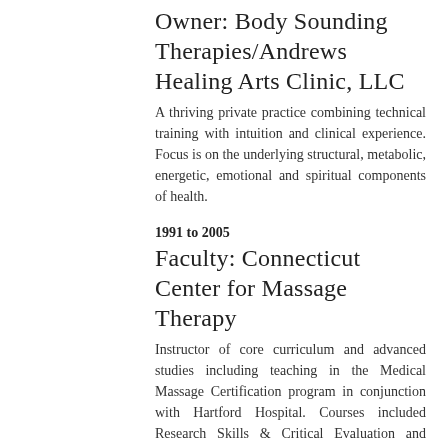Owner: Body Sounding Therapies/Andrews Healing Arts Clinic, LLC
A thriving private practice combining technical training with intuition and clinical experience. Focus is on the underlying structural, metabolic, energetic, emotional and spiritual components of health.
1991 to 2005
Faculty: Connecticut Center for Massage Therapy
Instructor of core curriculum and advanced studies including teaching in the Medical Massage Certification program in conjunction with Hartford Hospital. Courses included Research Skills & Critical Evaluation and Oncology Massage.
1994 to 2002